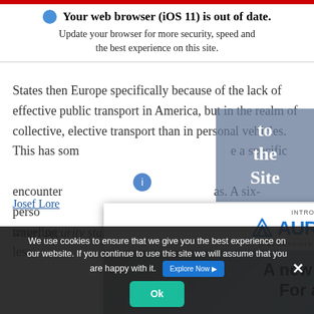[Figure (screenshot): Red bar at top of page]
🌐 Your web browser (iOS 11) is out of date. Update your browser for more security, speed and the best experience on this site.
States then Europe specifically because of the lack of effective public transport in America, but in the realm of collective, elective transport than in personal vehicles. This has som… e a specific … encounter… as. A six-perso… s traveling… another with less… fferent ro…
[Figure (screenshot): to the Site overlay box in grey-blue]
[Figure (screenshot): AuraCast advertisement popup showing logo and tagline 'A new energy For audio' with people wearing headphones]
Josef Lore
smart security startup Axiado Corporation, concurred.
We use cookies to ensure that we give you the best experience on our website. If you continue to use this site we will assume that you are happy with it.
[Figure (screenshot): Ok button (teal/green) and Explore Now button (blue) and X close button in cookie consent bar]